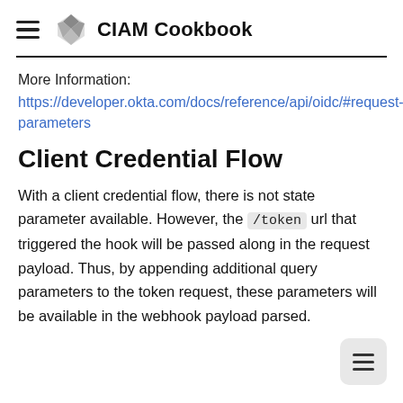CIAM Cookbook
More Information:
https://developer.okta.com/docs/reference/api/oidc/#request-parameters
Client Credential Flow
With a client credential flow, there is not state parameter available. However, the /token url that triggered the hook will be passed along in the request payload. Thus, by appending additional query parameters to the token request, these parameters will be available in the webhook payload parsed.